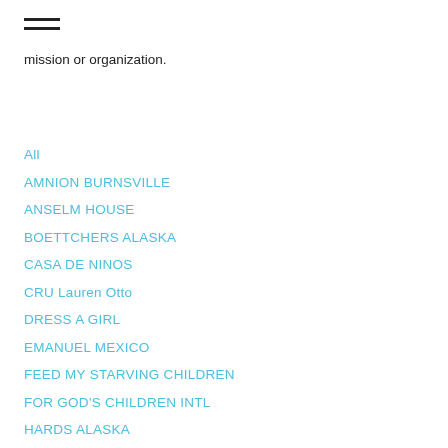≡
mission or organization.
All
AMNION BURNSVILLE
ANSELM HOUSE
BOETTCHERS ALASKA
CASA DE NINOS
CRU Lauren Otto
DRESS A GIRL
EMANUEL MEXICO
FEED MY STARVING CHILDREN
FOR GOD'S CHILDREN INTL
HARDS ALASKA
HOPEKIDS
MARC ALASKA
MIKE NELSON GOCORPS
ONTANON CHURCH